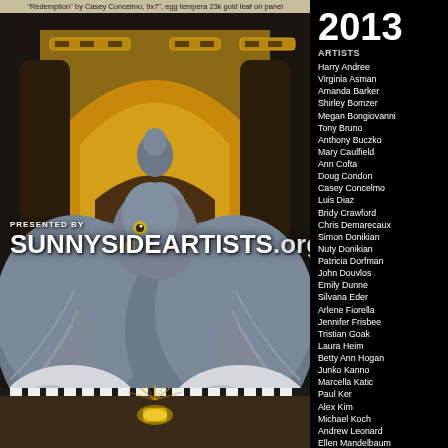"Redemption" by Casey Concelmo, 9x7", egg tempera 23k gold leaf on panel
[Figure (illustration): Painting of two pigeons facing each other in a golden arched Byzantine-style setting, with a glowing golden object between them on the ground. The birds are painted in a realistic style with blue-grey plumage against a gold leaf background.]
PRESENTED BY
SUNNYSIDEARTISTS.ORG
2013
ARTISTS
Harry Andree
Virginia Asman
Amanda Barker
Shirley Bomzer
Megan Bongiovanni
Tony Bruno
Anthony Buczko
Mary Caulfield
Ann Cofta
Doug Condon
Casey Concelmo
Luis Diaz
Bridy Crawford
Chris Demarecaux
Simon Donikian
Nuty Donikian
Patricia Dorfman
John Douvlos
Emily Dunne
Silvana Eder
Arlene Fiorella
Jennifer Frisbee
Tristian Goak
Laura Heim
Betty Ann Hogan
Junko Kanno
Marcella Katic
Paul Ker
Alex Kim
Michael Koch
Andrew Leonard
Ellen Mandelbaum
Brett Mohr
Abigail Nicolas
Melissa Osborn
Lucia Phipps
Leonora Retsas
Braden Rudd